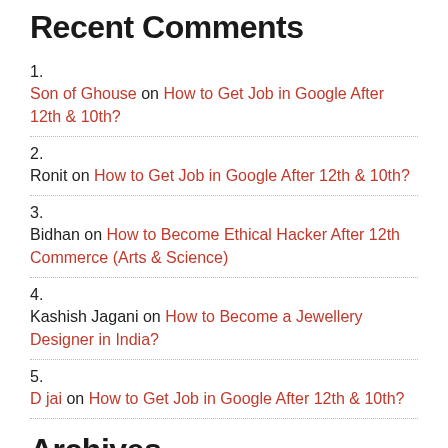Recent Comments
1.
Son of Ghouse on How to Get Job in Google After 12th & 10th?
2.
Ronit on How to Get Job in Google After 12th & 10th?
3.
Bidhan on How to Become Ethical Hacker After 12th Commerce (Arts & Science)
4.
Kashish Jagani on How to Become a Jewellery Designer in India?
5.
D jai on How to Get Job in Google After 12th & 10th?
Archives